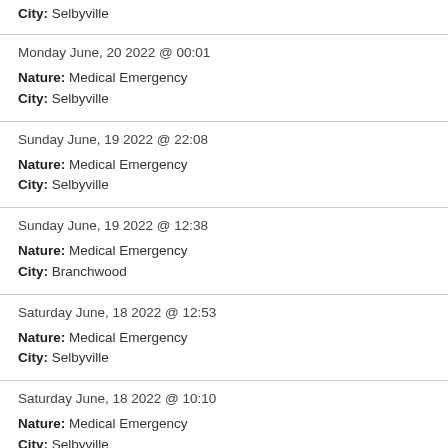City: Selbyville
Monday June, 20 2022 @ 00:01
Nature: Medical Emergency
City: Selbyville
Sunday June, 19 2022 @ 22:08
Nature: Medical Emergency
City: Selbyville
Sunday June, 19 2022 @ 12:38
Nature: Medical Emergency
City: Branchwood
Saturday June, 18 2022 @ 12:53
Nature: Medical Emergency
City: Selbyville
Saturday June, 18 2022 @ 10:10
Nature: Medical Emergency
City: Selbyville